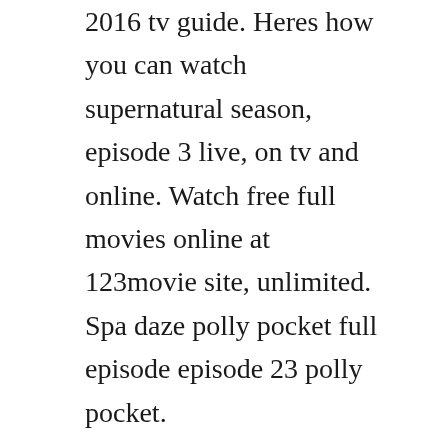2016 tv guide. Heres how you can watch supernatural season, episode 3 live, on tv and online. Watch free full movies online at 123movie site, unlimited. Spa daze polly pocket full episode episode 23 polly pocket.
It was both hysterical and touching in a way that wasnt. Tvguide has every full episode so you can stayuptodate and watch your favorite show supernatural anytime, anywhere. Since africa has only 3,500 cases, they should isolate some areas where they take all those with the virus and treat them there. This thursday on supernatural, sam, dean and cas